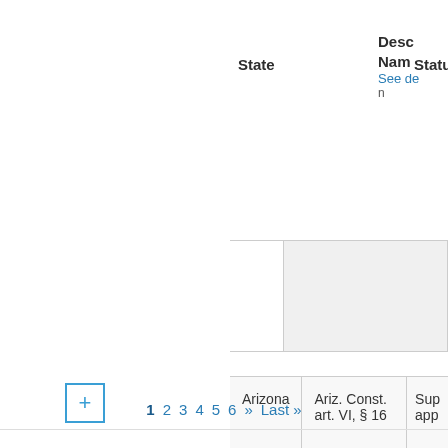| State | Statute | Description Name |
| --- | --- | --- |
|  |  |  |
| Arizona | Ariz. Const. art. VI, § 16 | Sup app |
See de
1 2 3 4 5 6 » Last »